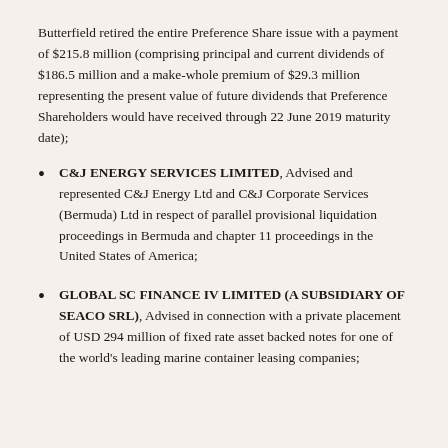Butterfield retired the entire Preference Share issue with a payment of $215.8 million (comprising principal and current dividends of $186.5 million and a make-whole premium of $29.3 million representing the present value of future dividends that Preference Shareholders would have received through 22 June 2019 maturity date);
C&J ENERGY SERVICES LIMITED, Advised and represented C&J Energy Ltd and C&J Corporate Services (Bermuda) Ltd in respect of parallel provisional liquidation proceedings in Bermuda and chapter 11 proceedings in the United States of America;
GLOBAL SC FINANCE IV LIMITED (A SUBSIDIARY OF SEACO SRL), Advised in connection with a private placement of USD 294 million of fixed rate asset backed notes for one of the world's leading marine container leasing companies;